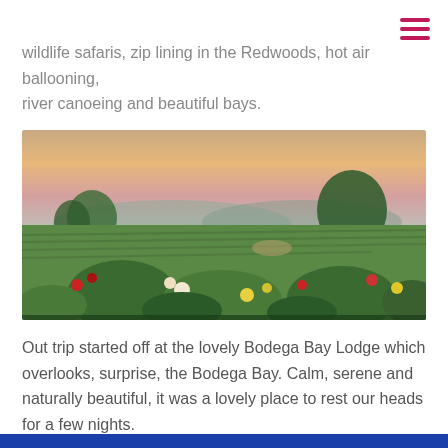[Figure (other): Hamburger menu icon with three horizontal pink/red lines, top-right corner]
wildlife safaris, zip lining in the Redwoods, hot air ballooning, river canoeing and beautiful bays.
[Figure (photo): Sunset landscape photo of a vineyard with green grapevines in rows, colorful flowers in the foreground (red, white, yellow roses), trees and mountains in the background under a warm orange and pink sky]
Out trip started off at the lovely Bodega Bay Lodge which overlooks, surprise, the Bodega Bay. Calm, serene and naturally beautiful, it was a lovely place to rest our heads for a few nights.